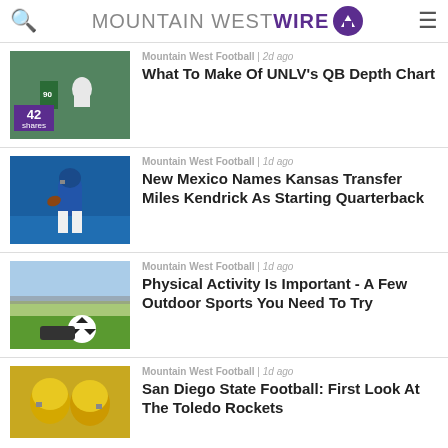Mountain West Wire
Mountain West Football | 2d ago
What To Make Of UNLV's QB Depth Chart
42 shares
Mountain West Football | 1d ago
New Mexico Names Kansas Transfer Miles Kendrick As Starting Quarterback
Mountain West Football | 1d ago
Physical Activity Is Important - A Few Outdoor Sports You Need To Try
Mountain West Football | 1d ago
San Diego State Football: First Look At The Toledo Rockets